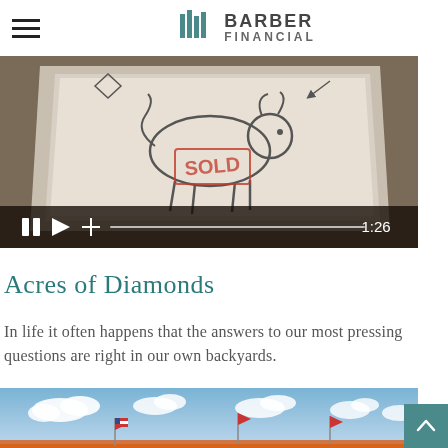Barber Financial
[Figure (screenshot): Video thumbnail showing a tablet with cartoon animal drawings and a SOLD stamp, with video player controls showing pause, play, plus icons, a progress bar, and timestamp 1:26]
Acres of Diamonds
In life it often happens that the answers to our most pressing questions are right in our own backyards.
[Figure (photo): Crowd of people dressed in orange at an outdoor event with flags and blue sky with clouds]